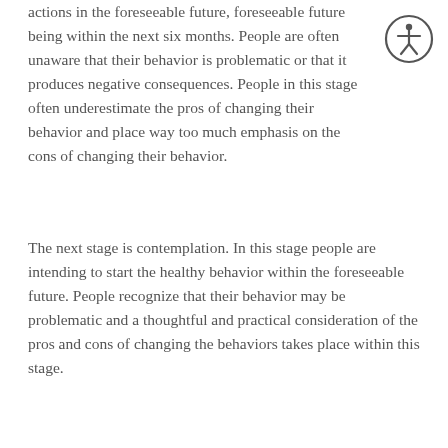actions in the foreseeable future, foreseeable future being within the next six months. People are often unaware that their behavior is problematic or that it produces negative consequences. People in this stage often underestimate the pros of changing their behavior and place way too much emphasis on the cons of changing their behavior.
[Figure (illustration): Accessibility icon: a circle with a stick figure human inside, arms outstretched]
The next stage is contemplation. In this stage people are intending to start the healthy behavior within the foreseeable future. People recognize that their behavior may be problematic and a thoughtful and practical consideration of the pros and cons of changing the behaviors takes place within this stage.